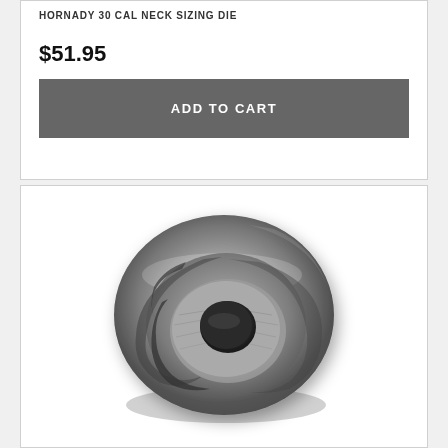HORNADY 30 CAL NECK SIZING DIE
$51.95
ADD TO CART
[Figure (photo): A metallic Hornady 30 cal neck sizing die bushing — a round steel component with a central hole and curved slot/groove, shown from above at a slight angle. The part is silver-gray machined steel.]